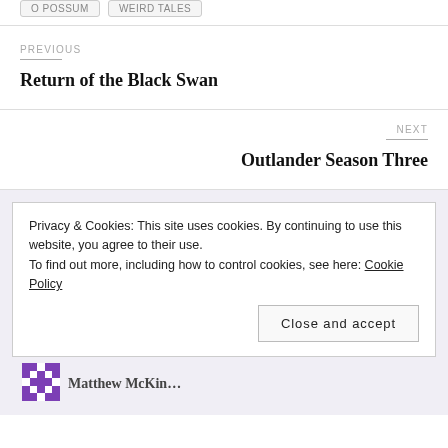O POSSUM   WEIRD TALES
PREVIOUS
Return of the Black Swan
NEXT
Outlander Season Three
Privacy & Cookies: This site uses cookies. By continuing to use this website, you agree to their use.
To find out more, including how to control cookies, see here: Cookie Policy
Close and accept